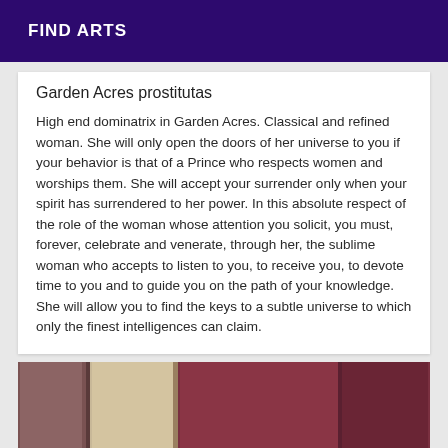FIND ARTS
Garden Acres prostitutas
High end dominatrix in Garden Acres. Classical and refined woman. She will only open the doors of her universe to you if your behavior is that of a Prince who respects women and worships them. She will accept your surrender only when your spirit has surrendered to her power. In this absolute respect of the role of the woman whose attention you solicit, you must, forever, celebrate and venerate, through her, the sublime woman who accepts to listen to you, to receive you, to devote time to you and to guide you on the path of your knowledge. She will allow you to find the keys to a subtle universe to which only the finest intelligences can claim.
[Figure (photo): Photo strip showing draped fabric or curtains in muted tones of tan, beige, and dark red/maroon]